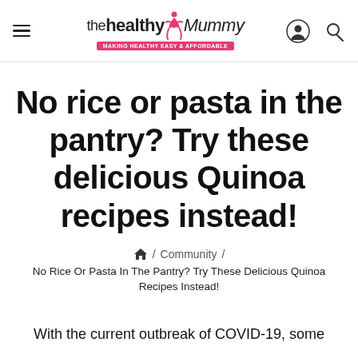the healthy Mummy — Making Healthy EASY & AFFORDABLE
No rice or pasta in the pantry? Try these delicious Quinoa recipes instead!
🏠 / Community / No Rice Or Pasta In The Pantry? Try These Delicious Quinoa Recipes Instead!
With the current outbreak of COVID-19, some